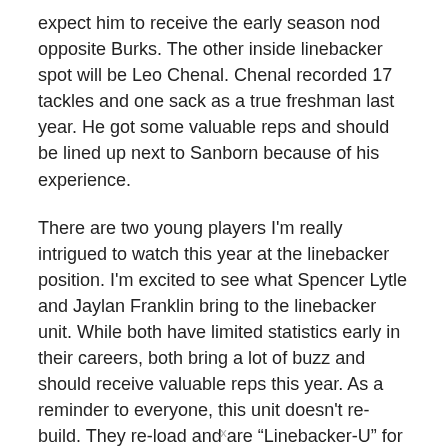expect him to receive the early season nod opposite Burks. The other inside linebacker spot will be Leo Chenal. Chenal recorded 17 tackles and one sack as a true freshman last year. He got some valuable reps and should be lined up next to Sanborn because of his experience.
There are two young players I'm really intrigued to watch this year at the linebacker position. I'm excited to see what Spencer Lytle and Jaylan Franklin bring to the linebacker unit. While both have limited statistics early in their careers, both bring a lot of buzz and should receive valuable reps this year. As a reminder to everyone, this unit doesn't re-build. They re-load and are “Linebacker-U” for a reason. There
x